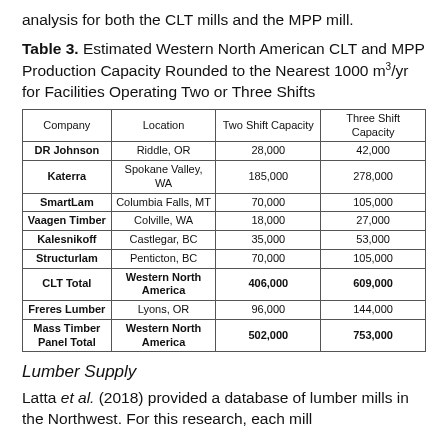analysis for both the CLT mills and the MPP mill.
Table 3. Estimated Western North American CLT and MPP Production Capacity Rounded to the Nearest 1000 m³/yr for Facilities Operating Two or Three Shifts
| Company | Location | Two Shift Capacity | Three Shift Capacity |
| --- | --- | --- | --- |
| DR Johnson | Riddle, OR | 28,000 | 42,000 |
| Katerra | Spokane Valley, WA | 185,000 | 278,000 |
| SmartLam | Columbia Falls, MT | 70,000 | 105,000 |
| Vaagen Timber | Colville, WA | 18,000 | 27,000 |
| Kalesnikoff | Castlegar, BC | 35,000 | 53,000 |
| Structurlam | Penticton, BC | 70,000 | 105,000 |
| CLT Total | Western North America | 406,000 | 609,000 |
| Freres Lumber | Lyons, OR | 96,000 | 144,000 |
| Mass Timber Panel Total | Western North America | 502,000 | 753,000 |
Lumber Supply
Latta et al. (2018) provided a database of lumber mills in the Northwest. For this research, each mill